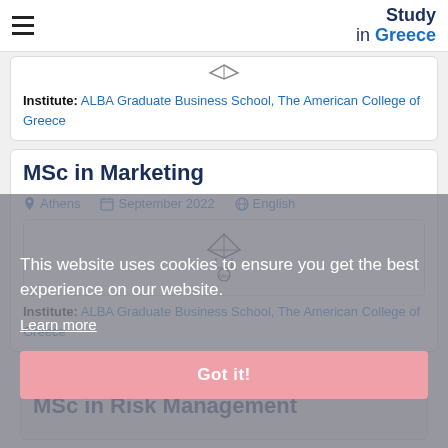Study in Greece
Institute: ALBA Graduate Business School, The American College of Greece
MSc in Marketing
Athens   September 2022   English
[Figure (logo): ALBA Graduate Business School logo]
Institute: ALBA Graduate Business School, The American College of Greece
This website uses cookies to ensure you get the best experience on our website.
Learn more
Got it!
MSc in Risk Management